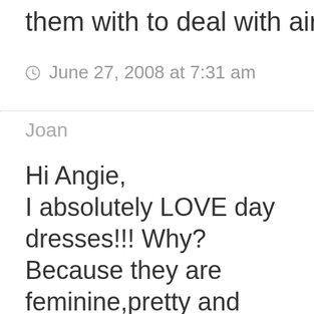them with to deal with air condition
June 27, 2008 at 7:31 am
Joan
Hi Angie, I absolutely LOVE day dresses!!! Why? Because they are feminine,pretty and comfortable, especially in the summertime when it's hot.They can be appropriate for almost any